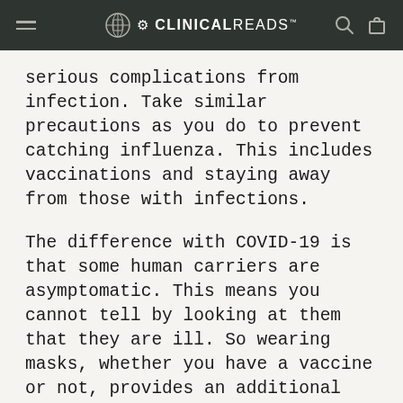CLINICALREADS
serious complications from infection. Take similar precautions as you do to prevent catching influenza. This includes vaccinations and staying away from those with infections.
The difference with COVID-19 is that some human carriers are asymptomatic. This means you cannot tell by looking at them that they are ill. So wearing masks, whether you have a vaccine or not, provides an additional barrier of protection.